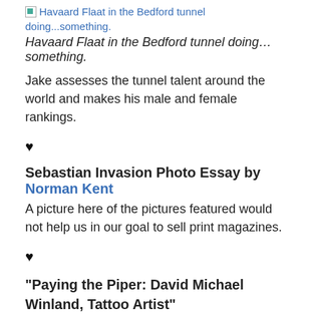[Figure (other): Broken image placeholder with link text: Havaard Flaat in the Bedford tunnel doing...something.]
Havaard Flaat in the Bedford tunnel doing…something.
Jake assesses the tunnel talent around the world and makes his male and female rankings.
♥
Sebastian Invasion Photo Essay by Norman Kent
A picture here of the pictures featured would not help us in our goal to sell print magazines.
♥
“Paying the Piper: David Michael Winland, Tattoo Artist”
[Figure (other): Broken image placeholder with link text: Some of David's work on the arm of Jason Peters.]
Some of David's work on the arm of Jason Peters.